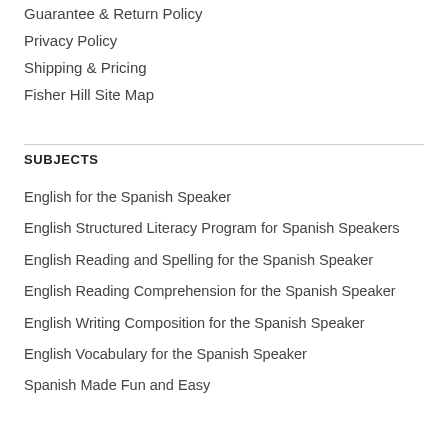Guarantee & Return Policy
Privacy Policy
Shipping & Pricing
Fisher Hill Site Map
SUBJECTS
English for the Spanish Speaker
English Structured Literacy Program for Spanish Speakers
English Reading and Spelling for the Spanish Speaker
English Reading Comprehension for the Spanish Speaker
English Writing Composition for the Spanish Speaker
English Vocabulary for the Spanish Speaker
Spanish Made Fun and Easy